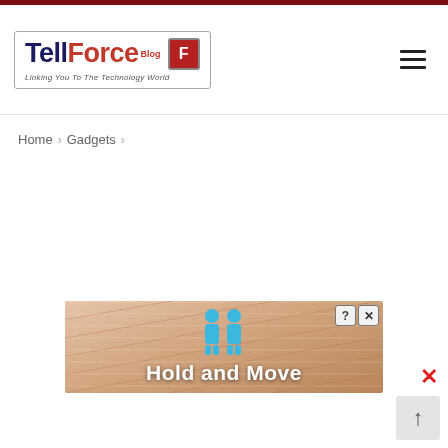[Figure (logo): TellForce Blog logo with tagline 'Linking You To The Technology World']
Home > Gadgets >
[Figure (screenshot): Advertisement banner for 'Hold and Move' app/game showing blue cartoon figures on a wooden board background with help and close buttons]
[Figure (other): Scroll-to-top button arrow icon (upward arrow in grey box)]